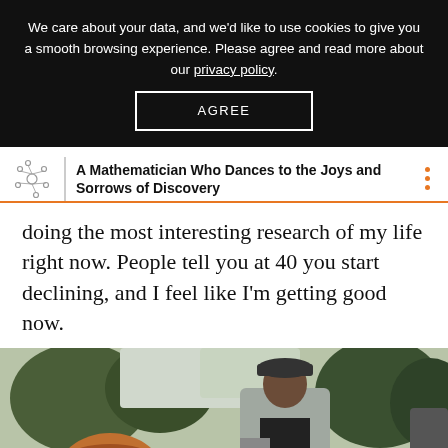We care about your data, and we'd like to use cookies to give you a smooth browsing experience. Please agree and read more about our privacy policy.
AGREE
A Mathematician Who Dances to the Joys and Sorrows of Discovery
doing the most interesting research of my life right now. People tell you at 40 you start declining, and I feel like I'm getting good now.
[Figure (photo): A man wearing a patterned cap and grey jacket looking down outdoors, with trees in the background and another person visible in front of him.]